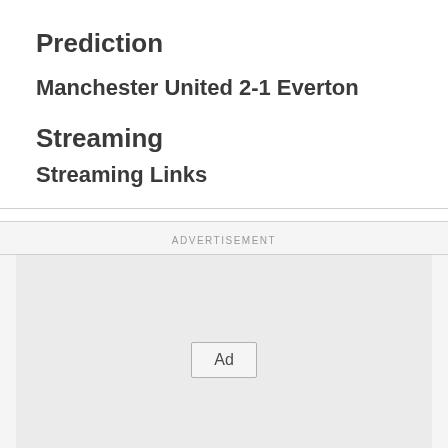Prediction
Manchester United 2-1 Everton
Streaming
Streaming Links
ADVERTISEMENT
[Figure (other): Advertisement placeholder box with 'Ad' label button]